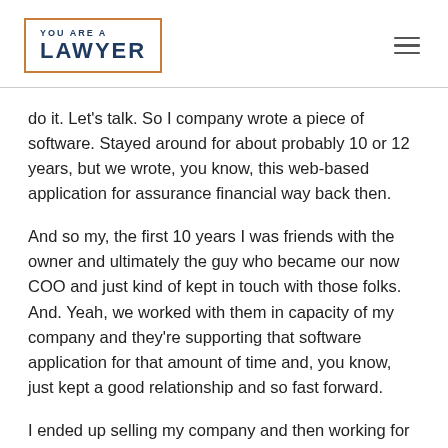YOU ARE A LAWYER
do it. Let's talk. So I company wrote a piece of software. Stayed around for about probably 10 or 12 years, but we wrote, you know, this web-based application for assurance financial way back then.
And so my, the first 10 years I was friends with the owner and ultimately the guy who became our now COO and just kind of kept in touch with those folks. And. Yeah, we worked with them in capacity of my company and they're supporting that software application for that amount of time and, you know, just kept a good relationship and so fast forward.
I ended up selling my company and then working for the company that purchased my company for four years. And then at the end of 2020, I left that